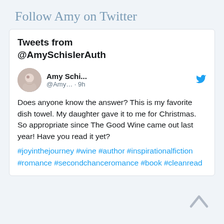Follow Amy on Twitter
Tweets from @AmySchislerAuth
[Figure (screenshot): Tweet from Amy Schi... (@Amy...) posted 9h ago. Text: Does anyone know the answer? This is my favorite dish towel. My daughter gave it to me for Christmas. So appropriate since The Good Wine came out last year! Have you read it yet? #joyinthejourney #wine #author #inspirationalfiction #romance #secondchanceromance #book #cleanread]
[Figure (other): Scroll-up chevron arrow icon]